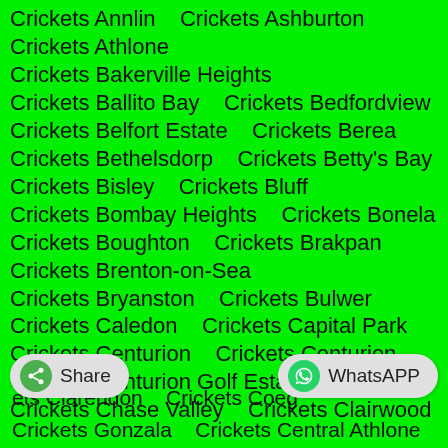Crickets Annlin    Crickets Ashburton
Crickets Athlone
Crickets Bakerville Heights
Crickets Ballito Bay    Crickets Bedfordview
Crickets Belfort Estate    Crickets Berea
Crickets Bethelsdorp    Crickets Betty's Bay
Crickets Bisley    Crickets Bluff
Crickets Bombay Heights    Crickets Bonela
Crickets Boughton    Crickets Brakpan
Crickets Brenton-on-Sea
Crickets Bryanston    Crickets Bulwer
Crickets Caledon    Crickets Capital Park
Crickets Centurion    Crickets Centurion
Crickets Centurion Golf Estate
Crickets Chase Valley    Crickets Clairwood
...ets Clarendon    Crickets Coeg...
Crickets Gonzala    Crickets Central Athlone